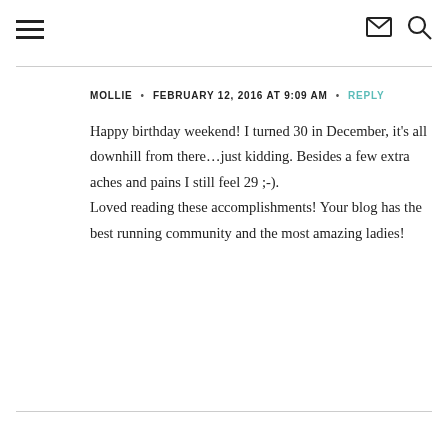☰  ✉  🔍
MOLLIE · FEBRUARY 12, 2016 AT 9:09 AM · REPLY
Happy birthday weekend! I turned 30 in December, it's all downhill from there…just kidding. Besides a few extra aches and pains I still feel 29 ;-).
Loved reading these accomplishments! Your blog has the best running community and the most amazing ladies!